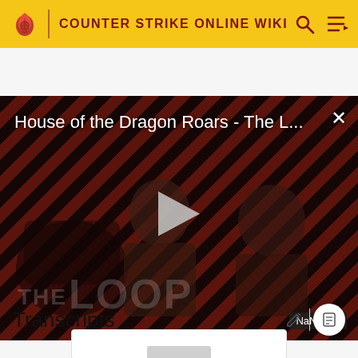COUNTER STRIKE ONLINE WIKI
[Figure (screenshot): Video player showing 'House of the Dragon Roars - The L...' with a play button, diagonal red-stripe background, silhouetted figures, THE LOOP text overlay, and NaN:NaN timestamp badge]
Transcripts
[Figure (other): Empty content box with a grey bar at bottom, representing a transcript input area]